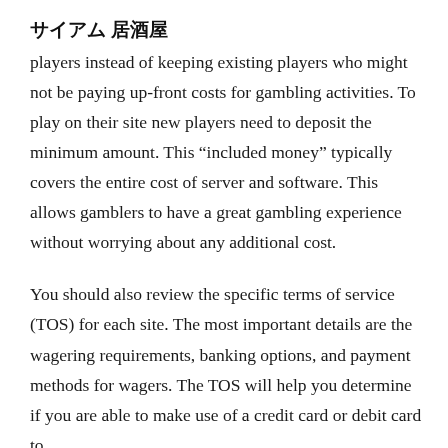サイアム 居酒屋
players instead of keeping existing players who might not be paying up-front costs for gambling activities. To play on their site new players need to deposit the minimum amount. This “included money” typically covers the entire cost of server and software. This allows gamblers to have a great gambling experience without worrying about any additional cost.
You should also review the specific terms of service (TOS) for each site. The most important details are the wagering requirements, banking options, and payment methods for wagers. The TOS will help you determine if you are able to make use of a credit card or debit card to